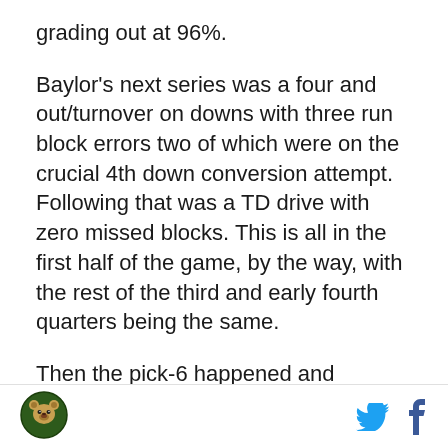grading out at 96%.
Baylor's next series was a four and out/turnover on downs with three run block errors two of which were on the crucial 4th down conversion attempt.  Following that was a TD drive with zero missed blocks.  This is all in the first half of the game, by the way, with the rest of the third and early fourth quarters being the same.
Then the pick-6 happened and something clicked.  A switched was turned for every player out there.  Up until then, our blockers had committed 27 blocking errors and would have graded out at 85.8%.  Not a bad day considering we did score 37 points on one of the toughest defenses in the nation.  In those last 11
[logo] [twitter] [facebook]